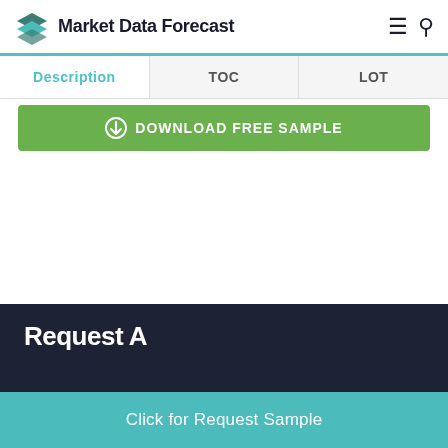Market Data Forecast
| Description | TOC | LOT |
| --- | --- | --- |
DOWNLOAD FREE SAMPLE
Click for Request Sample